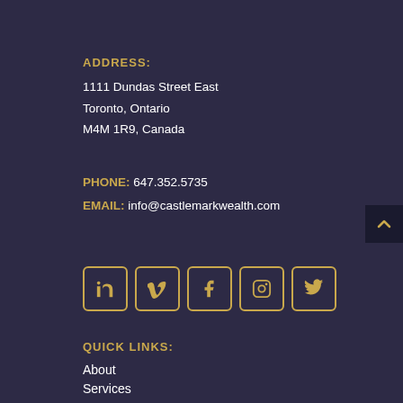ADDRESS:
1111 Dundas Street East
Toronto, Ontario
M4M 1R9, Canada
PHONE: 647.352.5735
EMAIL: info@castlemarkwealth.com
[Figure (infographic): Row of 5 social media icons (LinkedIn, Vimeo, Facebook, Instagram, Twitter) in gold-outlined rounded square buttons on dark background]
QUICK LINKS:
About
Services